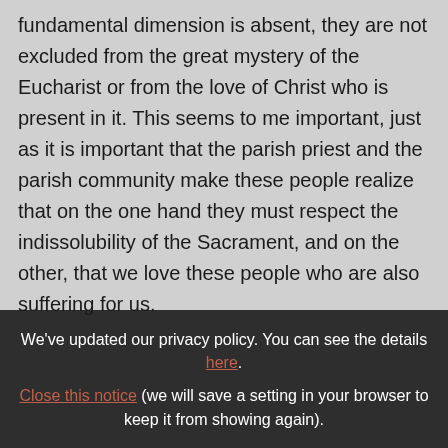fundamental dimension is absent, they are not excluded from the great mystery of the Eucharist or from the love of Christ who is present in it. This seems to me important, just as it is important that the parish priest and the parish community make these people realize that on the one hand they must respect the indissolubility of the Sacrament, and on the other, that we love these people who are also suffering for us.
We've updated our privacy policy. You can see the details here. Close this notice (we will save a setting in your browser to keep it from showing again).